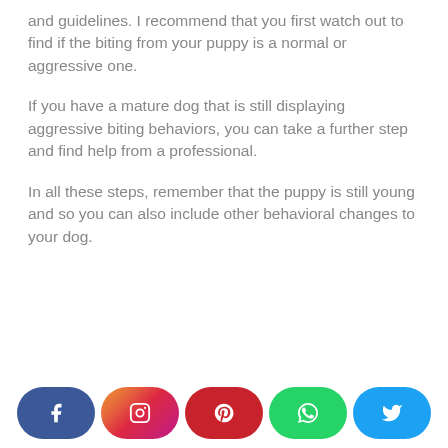and guidelines. I recommend that you first watch out to find if the biting from your puppy is a normal or aggressive one.
If you have a mature dog that is still displaying aggressive biting behaviors, you can take a further step and find help from a professional.
In all these steps, remember that the puppy is still young and so you can also include other behavioral changes to your dog.
[Figure (other): Social media share buttons: Facebook, Instagram, Pinterest, WhatsApp, Twitter]